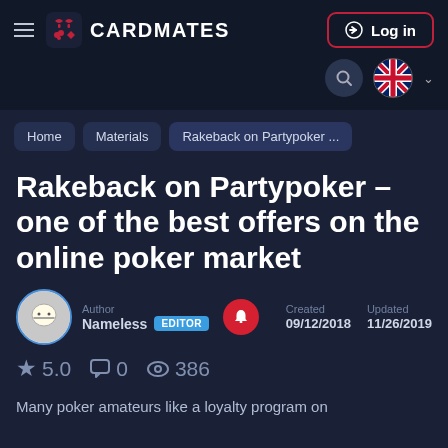CARDMATES — Log in
Home
Materials
Rakeback on Partypoker ...
Rakeback on Partypoker – one of the best offers on the online poker market
Author: Nameless EDITOR | Created: 09/12/2018 | Updated: 11/26/2019
★ 5.0  💬 0  👁 386
Many poker amateurs like a loyalty program on